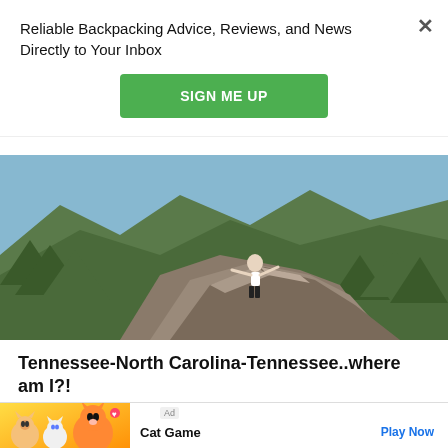Reliable Backpacking Advice, Reviews, and News Directly to Your Inbox
SIGN ME UP
[Figure (photo): Person standing on rocky mountain peak with arms outstretched, forested mountain valleys in background, sunny day]
Tennessee-North Carolina-Tennessee..where am I?!
The AT criss crosses the NC/TN border for miiiiiil... by out here. ...but the days themselves...
[Figure (other): Cat Game advertisement banner with cartoon cats and orange cat character, Play Now button]